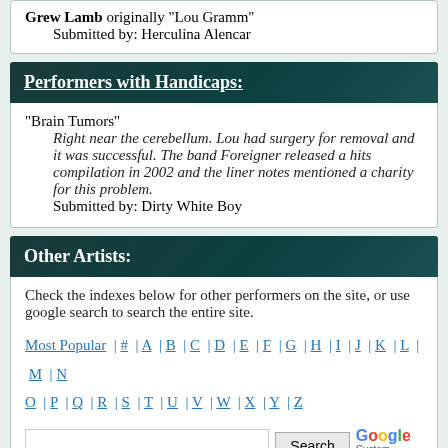Grew Lamb originally "Lou Gramm"
    Submitted by: Herculina Alencar
Performers with Handicaps:
"Brain Tumors"
    Right near the cerebellum. Lou had surgery for removal and it was successful. The band Foreigner released a hits compilation in 2002 and the liner notes mentioned a charity for this problem.
    Submitted by: Dirty White Boy
Other Artists:
Check the indexes below for other performers on the site, or use google search to search the entire site.
Most Popular | # | A | B | C | D | E | F | G | H | I | J | K | L | M | N | O | P | Q | R | S | T | U | V | W | X | Y | Z